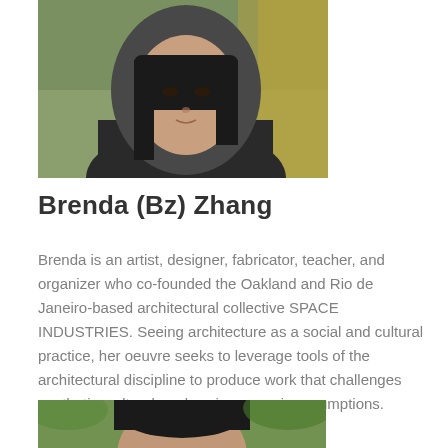[Figure (photo): Headshot photo of Brenda (Bz) Zhang wearing a dark hoodie, with greenery in the background]
Brenda (Bz) Zhang
Brenda is an artist, designer, fabricator, teacher, and organizer who co-founded the Oakland and Rio de Janeiro-based architectural collective SPACE INDUSTRIES. Seeing architecture as a social and cultural practice, her oeuvre seeks to leverage tools of the architectural discipline to produce work that challenges aesthetic, cultural, and socioeconomic assumptions.
[Figure (photo): Partial headshot photo of another person with dark hair, surrounded by greenery]